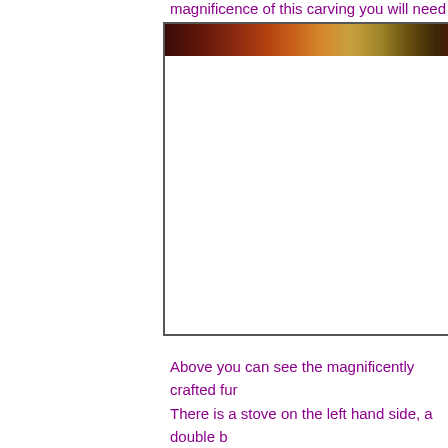magnificence of this carving you will need to se
[Figure (photo): A partially visible photograph showing a richly decorated interior with dark reddish and golden tones, appearing to be the interior of a Vardo (Romani wagon). Only the top strip of the image is visible at the top of the frame.]
Above you can see the magnificently crafted fur... There is a stove on the left hand side, a double b... most magnificently crafted furniture covering ev... these living quarters. This Vardo is still fit for a k...